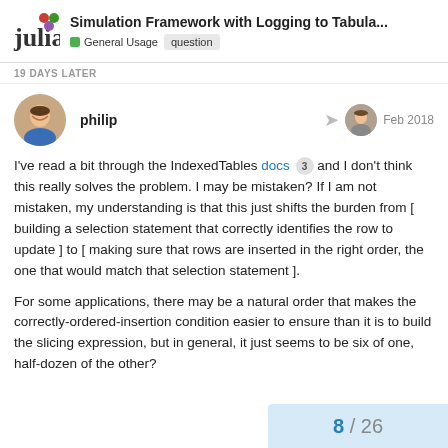Simulation Framework with Logging to Tabula... | General Usage | question
19 DAYS LATER
philip | Feb 2018
I've read a bit through the IndexedTables docs 3 and I don't think this really solves the problem. I may be mistaken? If I am not mistaken, my understanding is that this just shifts the burden from [ building a selection statement that correctly identifies the row to update ] to [ making sure that rows are inserted in the right order, the one that would match that selection statement ].
For some applications, there may be a natural order that makes the correctly-ordered-insertion condition easier to ensure than it is to build the slicing expression, but in general, it just seems to be six of one, half-dozen of the other?
8 / 26